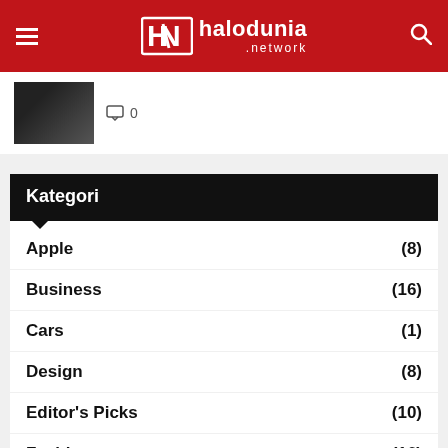Halodunia.network
[Figure (screenshot): Partial article card with thumbnail image and comment count 0]
Kategori
Apple (8)
Business (16)
Cars (1)
Design (8)
Editor's Picks (10)
Fashion (16)
Featured
Fitness (18)
Food (10)